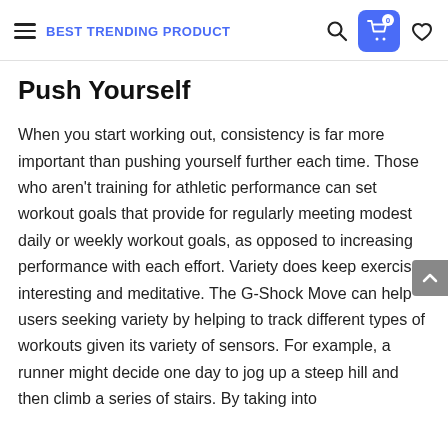BEST TRENDING PRODUCT
Push Yourself
When you start working out, consistency is far more important than pushing yourself further each time. Those who aren't training for athletic performance can set workout goals that provide for regularly meeting modest daily or weekly workout goals, as opposed to increasing performance with each effort. Variety does keep exercise interesting and meditative. The G-Shock Move can help users seeking variety by helping to track different types of workouts given its variety of sensors. For example, a runner might decide one day to jog up a steep hill and then climb a series of stairs. By taking into